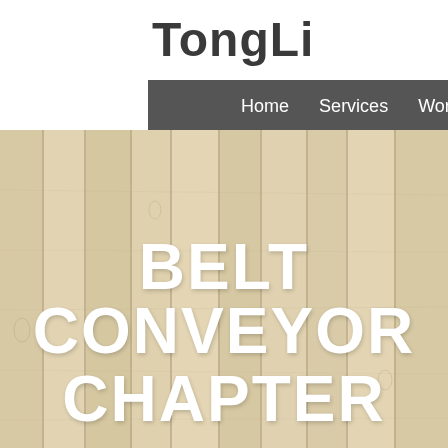TongLi
Home  Services  Work  About  Contact
[Figure (illustration): Wood plank texture background behind the hero text section]
BELT CONVEYOR CHAPTER